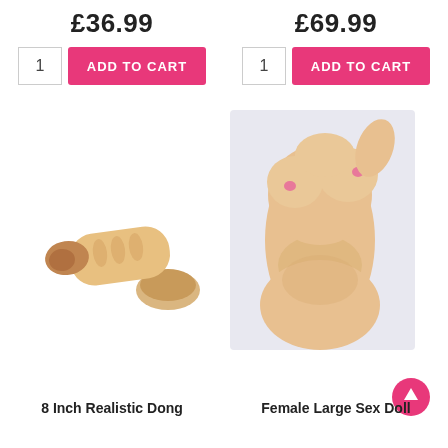£36.99
£69.99
1  ADD TO CART
1  ADD TO CART
[Figure (photo): Photo of an 8 inch realistic dong sex toy on white background]
[Figure (photo): Photo of a female large sex doll torso on light grey background]
8 Inch Realistic Dong
Female Large Sex Doll